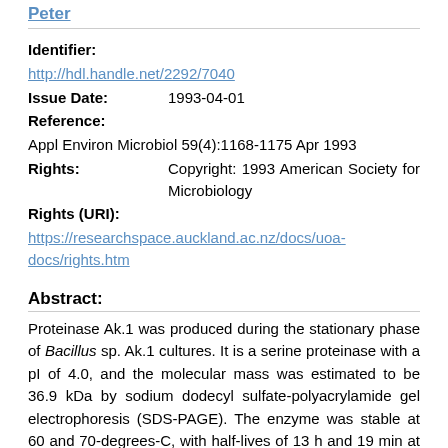Peter
Identifier:
http://hdl.handle.net/2292/7040
Issue Date: 1993-04-01
Reference:
Appl Environ Microbiol 59(4):1168-1175 Apr 1993
Rights: Copyright: 1993 American Society for Microbiology
Rights (URI):
https://researchspace.auckland.ac.nz/docs/uoa-docs/rights.htm
Abstract:
Proteinase Ak.1 was produced during the stationary phase of Bacillus sp. Ak.1 cultures. It is a serine proteinase with a pI of 4.0, and the molecular mass was estimated to be 36.9 kDa by sodium dodecyl sulfate-polyacrylamide gel electrophoresis (SDS-PAGE). The enzyme was stable at 60 and 70-degrees-C, with half-lives of 13 h and 19 min at 80 and 90-